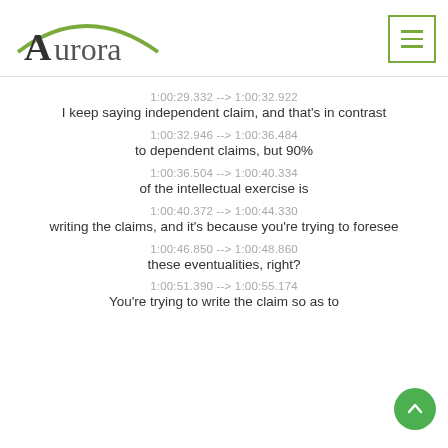[Figure (logo): Aurora logo with green arc and dark serif text]
1:00:29.332 --> 1:00:32.922
I keep saying independent claim, and that's in contrast
1:00:32.946 --> 1:00:36.484
to dependent claims, but 90%
1:00:36.504 --> 1:00:40.334
of the intellectual exercise is
1:00:40.372 --> 1:00:44.330
writing the claims, and it's because you're trying to foresee
1:00:46.850 --> 1:00:48.860
these eventualities, right?
1:00:51.390 --> 1:00:55.174
You're trying to write the claim so as to